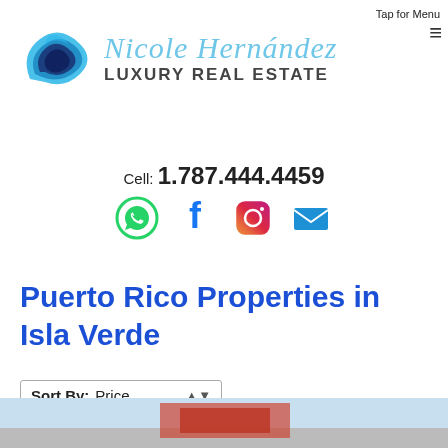Tap for Menu
[Figure (logo): Nicole Hernández Luxury Real Estate logo with blue wave/swirl icon and script name text]
Cell: 1.787.444.4459
[Figure (infographic): Social media icons row: WhatsApp (green), Facebook (blue), Instagram (gradient), Email (blue envelope)]
Puerto Rico Properties in Isla Verde
Sort By: Price